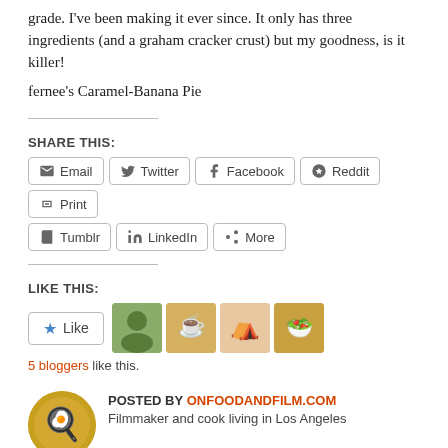grade. I've been making it ever since. It only has three ingredients (and a graham cracker crust) but my goodness, is it killer!
fernee's Caramel-Banana Pie
SHARE THIS:
Email  Twitter  Facebook  Reddit  Print  Tumblr  LinkedIn  More
LIKE THIS:
Like  5 bloggers like this.
POSTED BY ONFOODANDFILM.COM
Filmmaker and cook living in Los Angeles